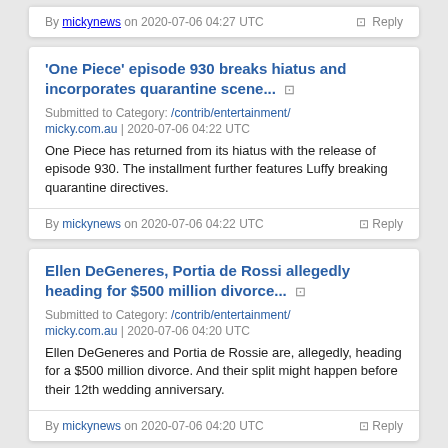By mickynews on 2020-07-06 04:27 UTC   ⊡ Reply
'One Piece' episode 930 breaks hiatus and incorporates quarantine scene... ⊡
Submitted to Category: /contrib/entertainment/
micky.com.au | 2020-07-06 04:22 UTC
One Piece has returned from its hiatus with the release of episode 930. The installment further features Luffy breaking quarantine directives.
By mickynews on 2020-07-06 04:22 UTC   ⊡ Reply
Ellen DeGeneres, Portia de Rossi allegedly heading for $500 million divorce... ⊡
Submitted to Category: /contrib/entertainment/
micky.com.au | 2020-07-06 04:20 UTC
Ellen DeGeneres and Portia de Rossie are, allegedly, heading for a $500 million divorce. And their split might happen before their 12th wedding anniversary.
By mickynews on 2020-07-06 04:20 UTC   ⊡ Reply
Prince Charles, Camilla heading for $450M divorce amid cancer